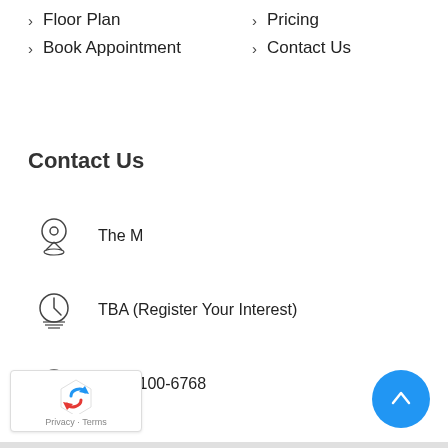> Floor Plan
> Pricing
> Book Appointment
> Contact Us
Contact Us
The M
TBA (Register Your Interest)
+65 6100-6768
sales@the-m-wingtai.com.sg
[Figure (logo): reCAPTCHA badge with Privacy and Terms text]
[Figure (other): Blue circular scroll-to-top button with upward arrow]